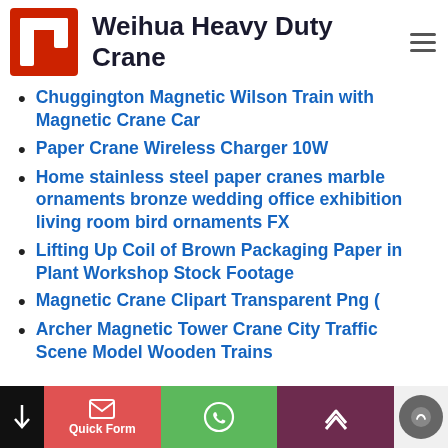Weihua Heavy Duty Crane
Chuggington Magnetic Wilson Train with Magnetic Crane Car
Paper Crane Wireless Charger 10W
Home stainless steel paper cranes marble ornaments bronze wedding office exhibition living room bird ornaments FX
Lifting Up Coil of Brown Packaging Paper in Plant Workshop Stock Footage
Magnetic Crane Clipart Transparent Png (
Archer Magnetic Tower Crane City Traffic Scene Model Wooden Trains
Quick Form